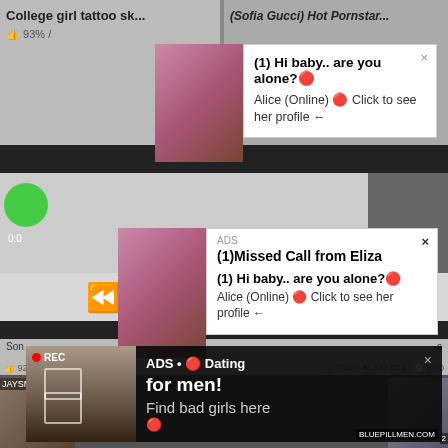[Figure (screenshot): Screenshot of adult video website with multiple popup ads overlaid. Top partial thumbnails show video titles including 'College girl tattoo...' and '(Sofia Gucci) Hot Pornstar...'. A media player controls bar with rewind, play, and fast-forward icons is visible. Bottom portion shows a dark popup ad with a selfie photo, REC indicator, and text 'ADS • Dating for men! Find bad girls here'. Two white popup notifications show '(1) Hi baby.. are you alone?' and 'Alice (Online) Click to see her profile' and '(1)Missed Call from Eliza'. Stats show 93%, 92%, 93% likes and view counts.]
College girl tattoo...
(Sofia Gucci) Hot Pornstar...
(1) Hi baby.. are you alone?
Alice (Online) 🔴 Click to see her profile ←
ADS
(1)Missed Call from Eliza
(1) Hi baby.. are you alone?
Alice (Online) 🔴 Click to see her profile ←
Son...
👍 92% / 👁 141,546 / 🕐 12:00
👍 93% / 👁 349,033 / 🕐 6:00
ADS • 🔴 Dating for men! Find bad girls here 🔴
REC